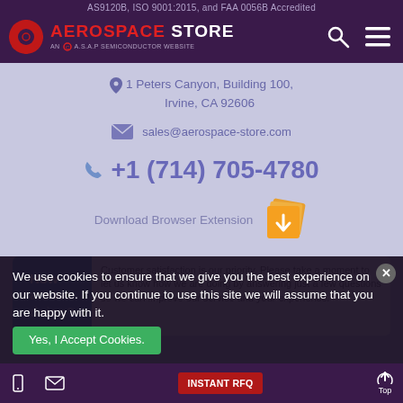AS9120B, ISO 9001:2015, and FAA 0056B Accredited
[Figure (logo): Aerospace Store logo with gear icon and 'AN A.S.A.P SEMICONDUCTOR WEBSITE' tagline]
1 Peters Canyon, Building 100, Irvine, CA 92606
sales@aerospace-store.com
+1 (714) 705-4780
Download Browser Extension
Customer satisfaction is our priority. Please take a moment to let us know how we are doing by answering just a few questions so we can improve our service and your experience.
We use cookies to ensure that we give you the best experience on our website. If you continue to use this site we will assume that you are happy with it.
Yes, I Accept Cookies.
INSTANT RFQ  Top